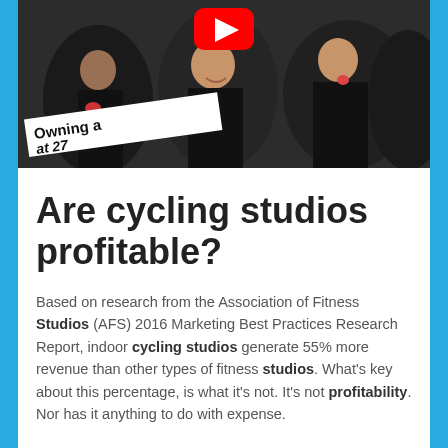[Figure (screenshot): YouTube video thumbnail showing women in black outfits at an event, with white banner text reading 'Owning a [studio] at 27' and a YouTube play button icon overlay]
Are cycling studios profitable?
Based on research from the Association of Fitness Studios (AFS) 2016 Marketing Best Practices Research Report, indoor cycling studios generate 55% more revenue than other types of fitness studios. What's key about this percentage, is what it's not. It's not profitability. Nor has it anything to do with expense.